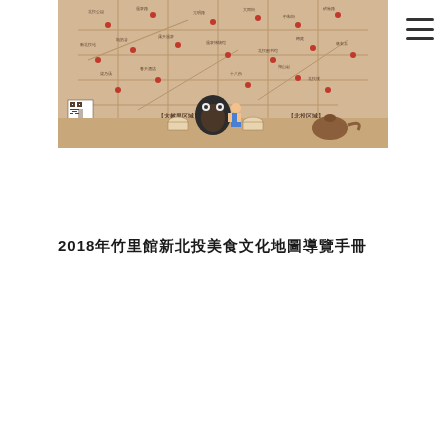[Figure (illustration): A vintage-style illustrated map with Chinese text labels, location pins, streets and landmarks on a warm beige/tan background. In the foreground are illustrated characters including a black cat/bear mascot and a figure, along with tea cups and a teapot on a table surface. A QR code is visible in the lower-left of the map.]
2018年竹里館新北投美食文化地圖導覽手冊